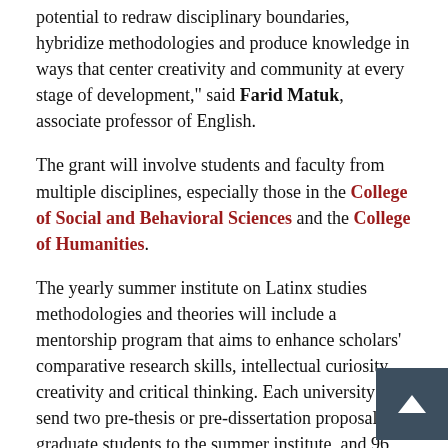potential to redraw disciplinary boundaries, hybridize methodologies and produce knowledge in ways that center creativity and community at every stage of development," said Farid Matuk, associate professor of English.
The grant will involve students and faculty from multiple disciplines, especially those in the College of Social and Behavioral Sciences and the College of Humanities.
The yearly summer institute on Latinx studies methodologies and theories will include a mentorship program that aims to enhance scholars' comparative research skills, intellectual curiosity, creativity and critical thinking. Each university will send two pre-thesis or pre-dissertation proposal graduate students to the summer institute, and 96 students will benefit from the institute and from assigned mentors.
The working group initiative seeks to enrich the field of Latinx humanities studies with a new model of collaborative, comparative and cross-regional research that more accurately reflects the changing configurations of Latinx people in the